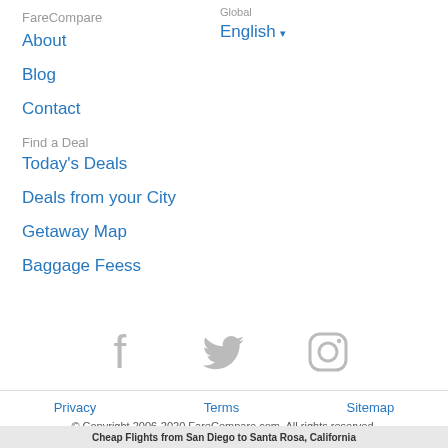FareCompare
About
Blog
Contact
Global
English ▾
Find a Deal
Today's Deals
Deals from your City
Getaway Map
Baggage Feess
[Figure (illustration): Social media icons: Facebook, Twitter, Instagram (all in light gray)]
Privacy   Terms   Sitemap
© Copyright 2006-2020 FareCompare.com. All rights reserved.
Cheap Flights from San Diego to Santa Rosa, California